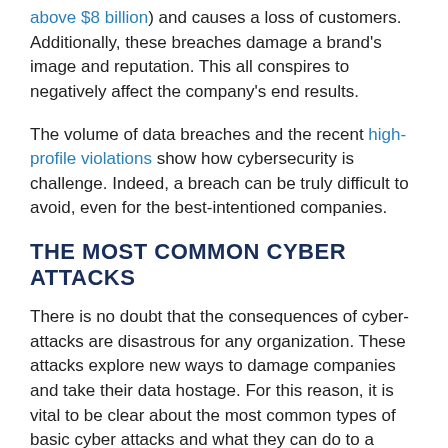above $8 billion) and causes a loss of customers. Additionally, these breaches damage a brand's image and reputation. This all conspires to negatively affect the company's end results.
The volume of data breaches and the recent high-profile violations show how cybersecurity is challenge. Indeed, a breach can be truly difficult to avoid, even for the best-intentioned companies.
THE MOST COMMON CYBER ATTACKS
There is no doubt that the consequences of cyber-attacks are disastrous for any organization. These attacks explore new ways to damage companies and take their data hostage. For this reason, it is vital to be clear about the most common types of basic cyber attacks and what they can do to a business.